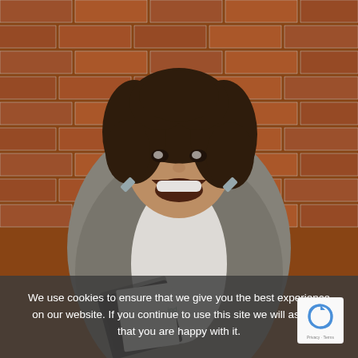[Figure (photo): A woman with curly dark hair, wearing a grey blazer and white top, laughing and holding a dark notebook/journal, seated in front of a red brick wall.]
We use cookies to ensure that we give you the best experience on our website. If you continue to use this site we will assume that you are happy with it.